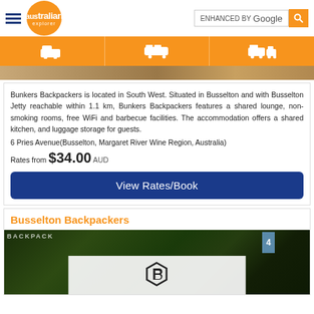australian explorer | ENHANCED BY Google
[Figure (screenshot): Navigation bar with accommodation, transport, and rental car icons on orange background]
[Figure (photo): Photo of accommodation (cropped top portion visible)]
Bunkers Backpackers is located in South West. Situated in Busselton and with Busselton Jetty reachable within 1.1 km, Bunkers Backpackers features a shared lounge, non-smoking rooms, free WiFi and barbecue facilities. The accommodation offers a shared kitchen, and luggage storage for guests.
6 Pries Avenue(Busselton, Margaret River Wine Region, Australia)
Rates from $34.00 AUD
View Rates/Book
Busselton Backpackers
[Figure (photo): Photo of Busselton Backpackers exterior showing signage and trees]